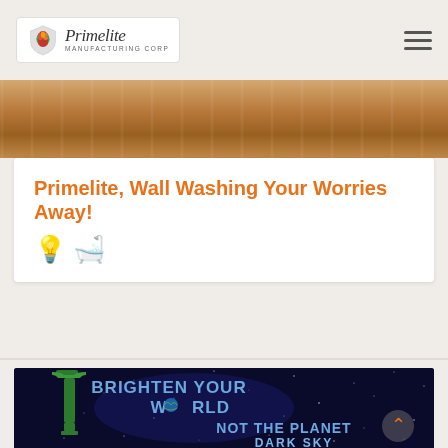Primelite Manufacturing Corp
[Figure (photo): Wood floor / table surface strip image]
Primelite, Wall Washing Your Worries Away! 💡 🛁
[Figure (photo): Space background with green lamp post, text reads BRIGHTEN YOUR WORLD NOT THE PLANET DARK SKY]